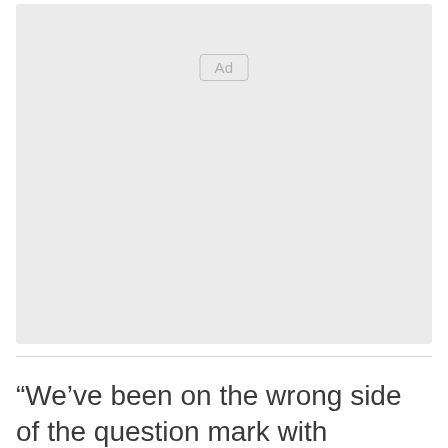[Figure (other): Advertisement placeholder box with 'Ad' label, light gray background]
“We’ve been on the wrong side of the question mark with nominees like John Paul